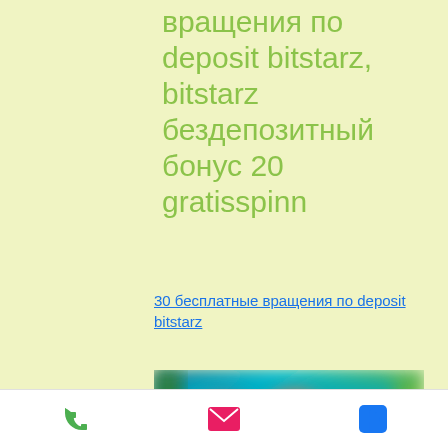вращения по deposit bitstarz, bitstarz бездепозитный бонус 20 gratisspinn
30 бесплатные вращения по deposit bitstarz
[Figure (photo): Blurred screenshot of a casino or gaming website interface with colorful characters and game thumbnails]
Phone | Email | Facebook icons